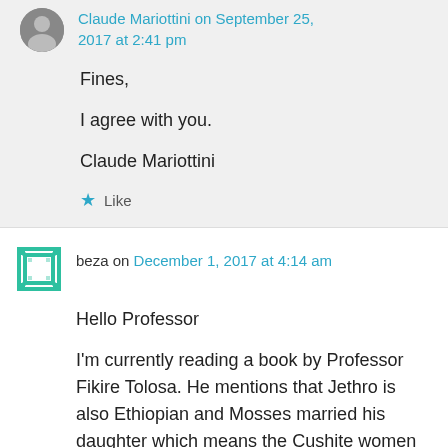Claude Mariottini on September 25, 2017 at 2:41 pm
Fines,

I agree with you.

Claude Mariottini
Like
beza on December 1, 2017 at 4:14 am
Hello Professor
I'm currently reading a book by Professor Fikire Tolosa. He mentions that Jethro is also Ethiopian and Mosses married his daughter which means the Cushite women and Zipporah are one and